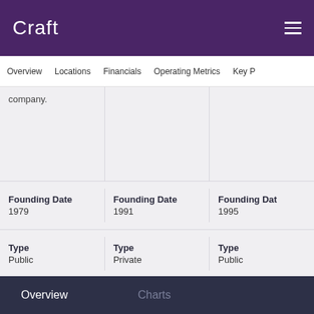Craft
Overview  Locations  Financials  Operating Metrics  Key P
company.
| Founding Date | Founding Date | Founding Date |
| --- | --- | --- |
| 1979 | 1991 | 1995 |
| Type
Public | Type
Private | Type
Public |
Overview  Charts